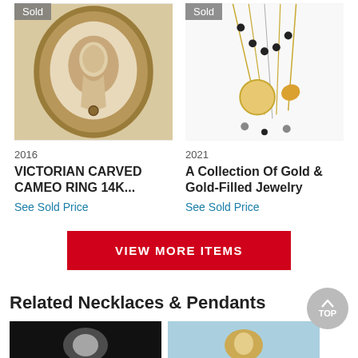[Figure (photo): Victorian carved cameo ring photo with 'Sold' badge overlay]
[Figure (photo): Collection of gold and gold-filled necklaces/pendants photo with 'Sold' badge overlay]
2016
2021
VICTORIAN CARVED CAMEO RING 14K...
A Collection Of Gold & Gold-Filled Jewelry
See Sold Price
See Sold Price
VIEW MORE ITEMS
Related Necklaces & Pendants
[Figure (photo): Related necklace/pendant item thumbnail - dark background]
[Figure (photo): Related necklace/pendant item thumbnail - light blue background]